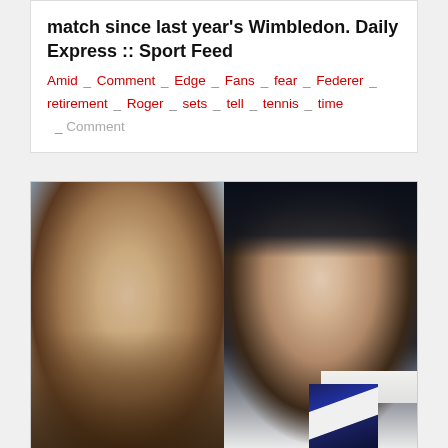match since last year's Wimbledon. Daily Express :: Sport Feed
Amid _ Comment _ Edge _ Fans _ fear _ Federer _ retirement _ Roger _ sets _ tell _ tennis _ time
_ Comment
[Figure (photo): Side-by-side photos of two men in suits. Left: man with short blond/brown hair and beard stubble. Right: man with dark slicked-back hair in a pinstripe suit with a blue and white striped tie.]